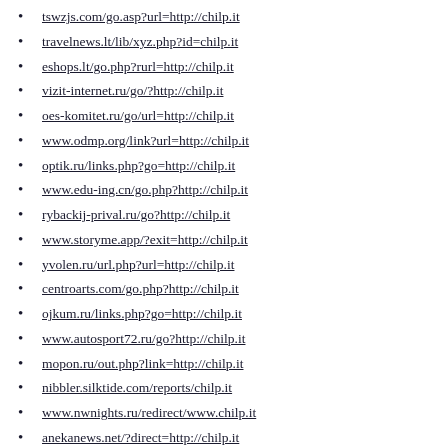tswzjs.com/go.asp?url=http://chilp.it
travelnews.lt/lib/xyz.php?id=chilp.it
eshops.lt/go.php?rurl=http://chilp.it
vizit-internet.ru/go/?http://chilp.it
oes-komitet.ru/go/url=http://chilp.it
www.odmp.org/link?url=http://chilp.it
optik.ru/links.php?go=http://chilp.it
www.edu-ing.cn/go.php?http://chilp.it
rybackij-prival.ru/go?http://chilp.it
www.storyme.app/?exit=http://chilp.it
yvolen.ru/url.php?url=http://chilp.it
centroarts.com/go.php?http://chilp.it
ojkum.ru/links.php?go=http://chilp.it
www.autosport72.ru/go?http://chilp.it
mopon.ru/out.php?link=http://chilp.it
nibbler.silktide.com/reports/chilp.it
www.nwnights.ru/redirect/www.chilp.it
anekanews.net/?direct=http://chilp.it
sudak.me/redirect?url=http://chilp.it